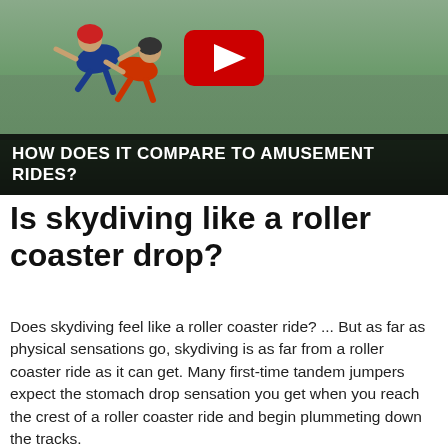[Figure (photo): YouTube video thumbnail showing two skydivers in freefall above aerial landscape view, with a large YouTube play button overlay and text banner at bottom reading 'HOW DOES IT COMPARE TO AMUSEMENT RIDES?']
Is skydiving like a roller coaster drop?
Does skydiving feel like a roller coaster ride? ... But as far as physical sensations go, skydiving is as far from a roller coaster ride as it can get. Many first-time tandem jumpers expect the stomach drop sensation you get when you reach the crest of a roller coaster ride and begin plummeting down the tracks.